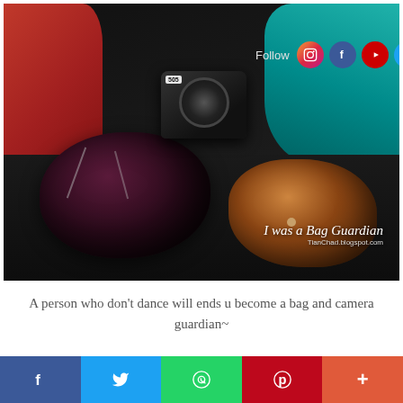[Figure (photo): Photo of bags and a camera on the floor. A black round handbag, a brown leather bag, and a DSLR camera are visible. A red cloth is on the left and a teal/cyan garment on the upper right. Text overlay reads 'I was a Bag Guardian' with 'TianChad.blogspot.com' below. Social media follow icons (Instagram, Facebook, YouTube, Twitter, Flickr, Pinterest, Tumblr, RSS) appear at the top with 'Follow' label.]
A person who don't dance will ends u become a bag and camera guardian~
[Figure (infographic): Social share button bar at the bottom with Facebook (blue), Twitter (light blue), WhatsApp (green), Pinterest (red), and More (orange-red) buttons.]